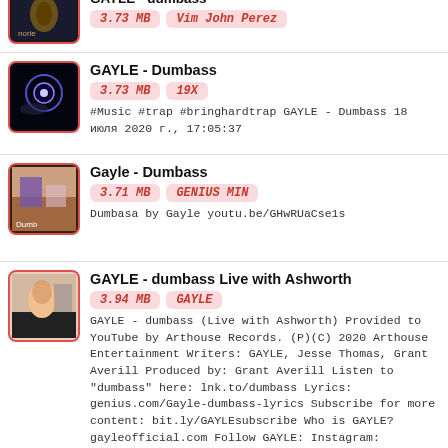GAYLE - dumbass | 3.73 MB | Vim John Perez
GAYLE - Dumbass | 3.73 MB | 19X | #Music #trap #bringhardtrap GAYLE - Dumbass 18 июля 2020 г., 17:05:37
Gayle - Dumbass | 3.71 MB | GENIUS MIN | Dumbasa by Gayle youtu.be/GHwRUaCse1s
GAYLE - dumbass Live with Ashworth | 3.94 MB | GAYLE | GAYLE - dumbass (Live with Ashworth) Provided to YouTube by Arthouse Records. (P)(C) 2020 Arthouse Entertainment Writers: GAYLE, Jesse Thomas, Grant Averill Produced by: Grant Averill Listen to 'dumbass' here: lnk.to/dumbass Lyrics: genius.com/Gayle-dumbass-lyrics Subscribe for more content: bit.ly/GAYLEsubscribe Who is GAYLE? gayleofficial.com Follow GAYLE: Instagram: instagram.com/gayle/ TikTok: ...
GAYLE - ur just horny